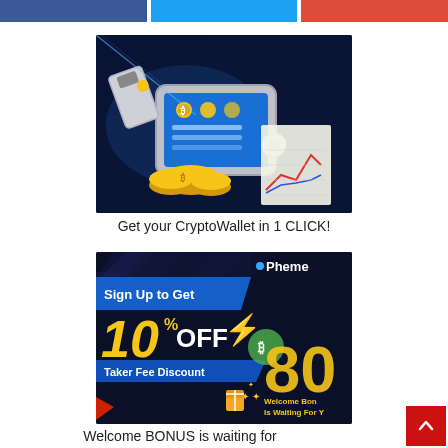[Figure (illustration): Three colored social media share buttons: purple (Facebook), blue (Twitter), red (Google+/Pinterest) at the top of the page]
[Figure (illustration): Cryptocurrency wallet illustration showing a smartphone with crypto app, USB hardware wallet, and gold coins spilling out, with financial charts in the background, on dark blue background]
Get your CryptoWallet in 1 CLICK!
[Figure (illustration): Phemex cryptocurrency exchange promotional banner: dark background with chevron patterns, blue diagonal banner 'Sign Up to Get', large yellow '10% OFF' text with lightning bolt, blue 'Taker Fee Discount' banner, large '80' in yellow on right side, 'Welcome Bonus Is Waiting For Y...' text, gift box icon with stars]
Welcome BONUS is waiting for